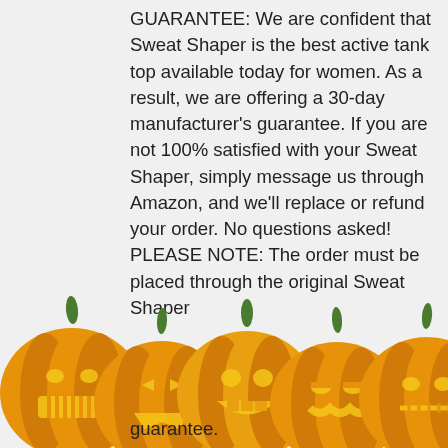GUARANTEE: We are confident that Sweat Shaper is the best active tank top available today for women. As a result, we are offering a 30-day manufacturer's guarantee. If you are not 100% satisfied with your Sweat Shaper, simply message us through Amazon, and we'll replace or refund your order. No questions asked! PLEASE NOTE: The order must be placed through the original Sweat Shaper [listing to be covered by our] guarantee.
[Figure (illustration): A row of five carved Halloween jack-o'-lantern pumpkins with different face expressions, orange with green stems, glowing yellow inside, positioned along the bottom of the page overlapping the text.]